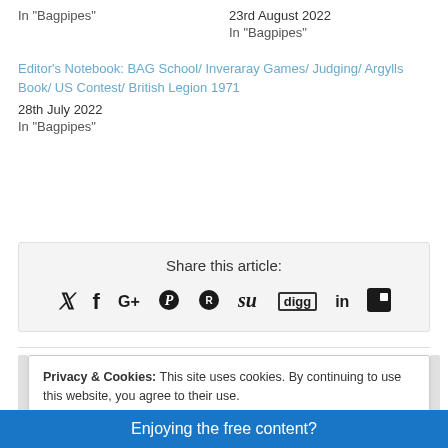In "Bagpipes"
23rd August 2022
In "Bagpipes"
Editor's Notebook: BAG School/ Inveraray Games/ Judging/ Argylls Book/ US Contest/ British Legion 1971
28th July 2022
In "Bagpipes"
Share this article:
[Figure (infographic): Social share icons: Twitter, Facebook, Google+, Pinterest, Reddit, StumbleUpon, Digg, LinkedIn, and a share icon]
Privacy & Cookies: This site uses cookies. By continuing to use this website, you agree to their use.
To find out more, including how to control cookies, see here: Cookie Policy
Close and accept
Enjoying the free content?